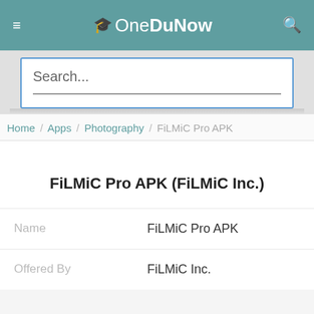OneDuNow
[Figure (screenshot): Search input box with placeholder text 'Search...' and a horizontal underline, on a light gray background]
Home / Apps / Photography / FiLMiC Pro APK
FiLMiC Pro APK (FiLMiC Inc.)
|  |  |
| --- | --- |
| Name | FiLMiC Pro APK |
| Offered By | FiLMiC Inc. |